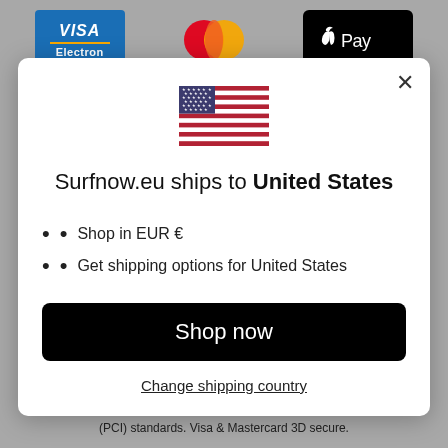[Figure (logo): Visa Electron logo - blue card with gold stripe]
[Figure (logo): Mastercard logo - overlapping red and orange/yellow circles]
[Figure (logo): Apple Pay logo - black background with apple icon and Pay text]
[Figure (illustration): US flag emoji/illustration inside modal dialog]
Surfnow.eu ships to United States
Shop in EUR €
Get shipping options for United States
Shop now
Change shipping country
(PCI) standards. Visa & Mastercard 3D secure.